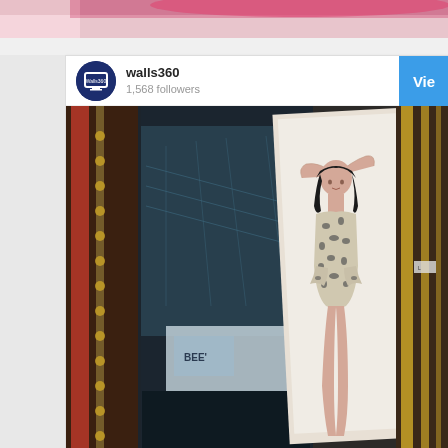[Figure (screenshot): Top strip showing partial image with pink/red furry background]
[Figure (screenshot): Instagram-style card for walls360 account showing 1,568 followers with a photo of a wall mural featuring a woman in a leopard print swimsuit posed in a room with reflective surfaces, gold stripes on right side]
walls360
1,568 followers